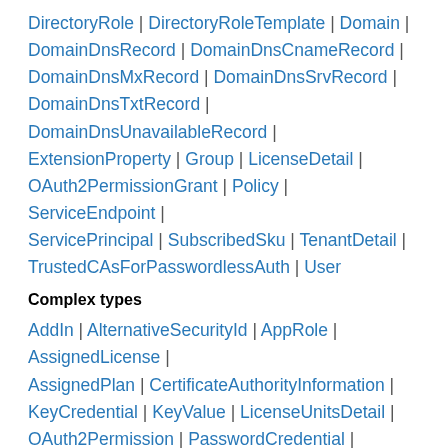DirectoryRole | DirectoryRoleTemplate | Domain | DomainDnsRecord | DomainDnsCnameRecord | DomainDnsMxRecord | DomainDnsSrvRecord | DomainDnsTxtRecord | DomainDnsUnavailableRecord | ExtensionProperty | Group | LicenseDetail | OAuth2PermissionGrant | Policy | ServiceEndpoint | ServicePrincipal | SubscribedSku | TenantDetail | TrustedCAsForPasswordlessAuth | User
Complex types
AddIn | AlternativeSecurityId | AppRole | AssignedLicense | AssignedPlan | CertificateAuthorityInformation | KeyCredential | KeyValue | LicenseUnitsDetail | OAuth2Permission | PasswordCredential | PasswordProfile | ProvisionedPlan | ProvisioningError | RequiredResourceAccess | ResourceAccess | ServicePlanInfo | ServicePrincipalAuthenticationPolicy | SignInName |